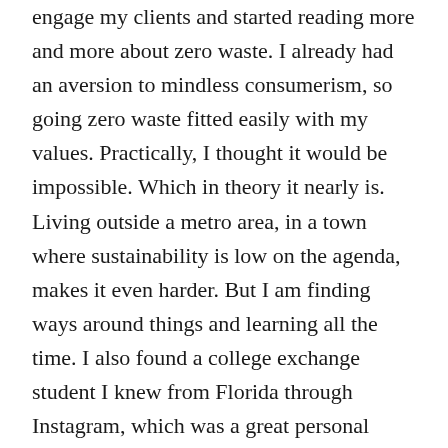engage my clients and started reading more and more about zero waste. I already had an aversion to mindless consumerism, so going zero waste fitted easily with my values. Practically, I thought it would be impossible. Which in theory it nearly is. Living outside a metro area, in a town where sustainability is low on the agenda, makes it even harder. But I am finding ways around things and learning all the time. I also found a college exchange student I knew from Florida through Instagram, which was a great personal connection. I found shops that sell limited dry goods in bulk and have learnt to make things myself that I had never considered in the past. Zero waste is rewarding on a personal level. I feel good whenever I discover something new or a new way of making something I used to buy